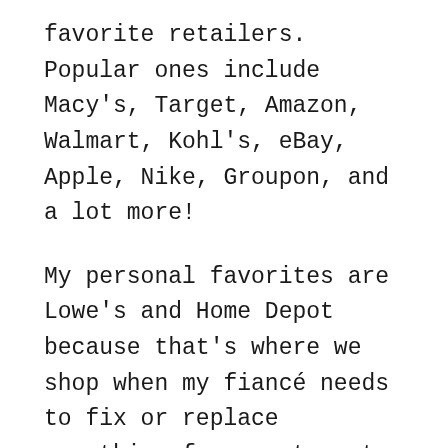favorite retailers. Popular ones include Macy's, Target, Amazon, Walmart, Kohl's, eBay, Apple, Nike, Groupon, and a lot more!
My personal favorites are Lowe's and Home Depot because that's where we shop when my fiancé needs to fix or replace something for our tenants. I will give you guys an example of how we used Ebates to save money on one of our recent purchases in the next section.